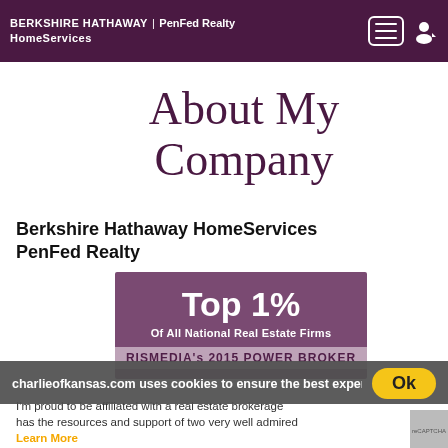BERKSHIRE HATHAWAY HomeServices | PenFed Realty
About My Company
Berkshire Hathaway HomeServices PenFed Realty
[Figure (infographic): Purple badge graphic reading 'Top 1% Of All National Real Estate Firms' with 'RISMEDIA's 2015 POWER BROKER' below in darker band]
charlieofkansas.com uses cookies to ensure the best experi
Learn More
I'm proud to be affiliated with a real estate brokerage has the resources and support of two very well admired